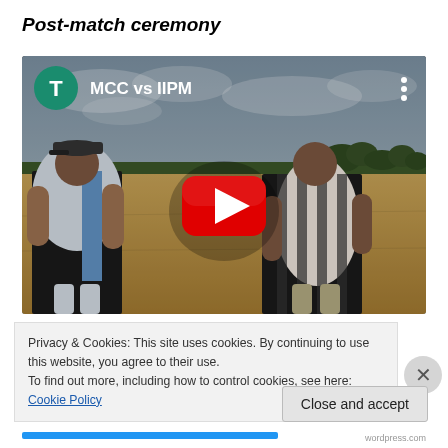Post-match ceremony
[Figure (screenshot): YouTube video thumbnail showing two men standing on a cricket ground. Title reads 'MCC vs IIPM'. Green avatar circle with letter T in top left. Red YouTube play button in center. Three-dot menu in top right.]
Privacy & Cookies: This site uses cookies. By continuing to use this website, you agree to their use.
To find out more, including how to control cookies, see here: Cookie Policy
Close and accept